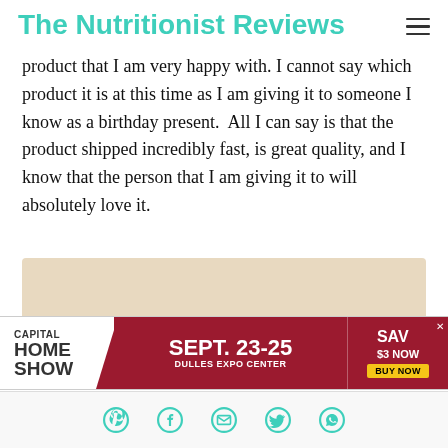The Nutritionist Reviews
product that I am very happy with. I cannot say which product it is at this time as I am giving it to someone I know as a birthday present.  All I can say is that the product shipped incredibly fast, is great quality, and I know that the person that I am giving it to will absolutely love it.
[Figure (photo): Advertisement banner: Capital Home Show Sept. 23-25 Dulles Expo Center Save $3 Now Buy Now]
[Figure (infographic): Social media sharing icons: Pinterest, Facebook, Email, Twitter, WhatsApp]